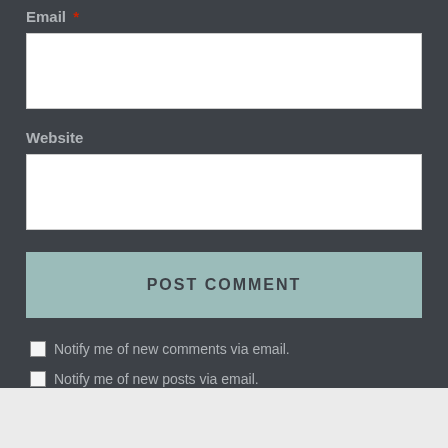Email *
[Figure (other): Email input text field (empty white rectangle)]
Website
[Figure (other): Website input text field (empty white rectangle)]
POST COMMENT
Notify me of new comments via email.
Notify me of new posts via email.